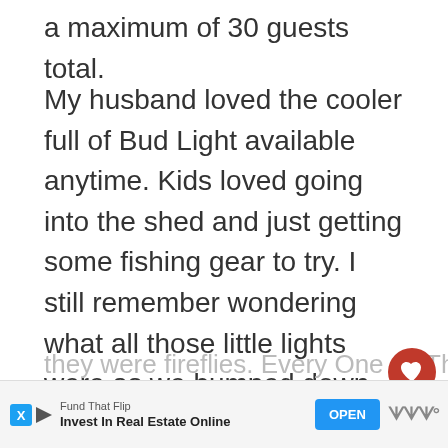a maximum of 30 guests total.
My husband loved the cooler full of Bud Light available anytime. Kids loved going into the shed and just getting some fishing gear to try. I still remember wondering what all those little lights were as we bumped down the sand road in the back of the p... up toward the beach. Those lig...
they were fireflies. Every One Of Them
[Figure (other): Heart favorite button (red circle with heart icon) and share button overlay on article]
[Figure (other): What's Next promo box: THE INN AT SEA ISLAND...]
[Figure (other): Advertisement banner: Fund That Flip - Invest In Real Estate Online - OPEN button]